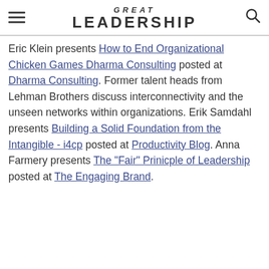GREAT LEADERSHIP
Eric Klein presents How to End Organizational Chicken Games Dharma Consulting posted at Dharma Consulting. Former talent heads from Lehman Brothers discuss interconnectivity and the unseen networks within organizations. Erik Samdahl presents Building a Solid Foundation from the Intangible - i4cp posted at Productivity Blog. Anna Farmery presents The "Fair" Prinicple of Leadership posted at The Engaging Brand.